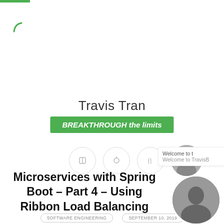[Figure (screenshot): Website screenshot of Travis Tran blog with green loading arc, social icons, and article listing]
Travis Tran
BREAKTHROUGH the limits
Microservices with Spring Boot – Part 4 – Using Ribbon Load Balancing
SOFTWARE ENGINEERING
SEPTEMBER 10, 2019